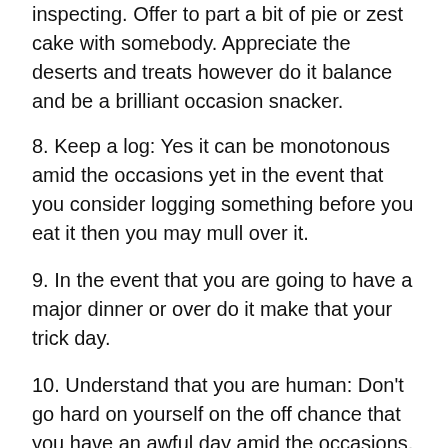inspecting. Offer to part a bit of pie or zest cake with somebody. Appreciate the deserts and treats however do it balance and be a brilliant occasion snacker.
8. Keep a log: Yes it can be monotonous amid the occasions yet in the event that you consider logging something before you eat it then you may mull over it.
9. In the event that you are going to have a major dinner or over do it make that your trick day.
10. Understand that you are human: Don't go hard on yourself on the off chance that you have an awful day amid the occasions. Simply understand that you are human and gain from it.
So there you go, ten snappy occasion survival tips. Use them and you will have the capacity to appreciate the Christmas season without buying new jeans to begin the